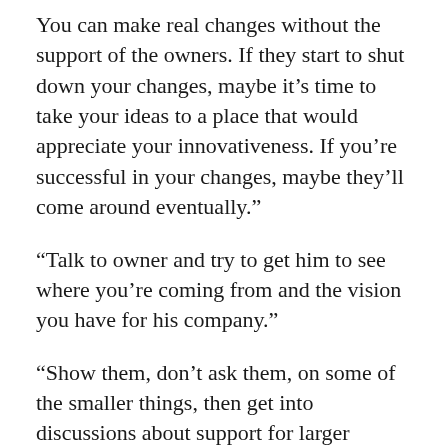You can make real changes without the support of the owners. If they start to shut down your changes, maybe it’s time to take your ideas to a place that would appreciate your innovativeness. If you’re successful in your changes, maybe they’ll come around eventually.”
“Talk to owner and try to get him to see where you’re coming from and the vision you have for his company.”
“Show them, don’t ask them, on some of the smaller things, then get into discussions about support for larger change. If they still are not interested, there are plenty of other owners who would like your energy.”